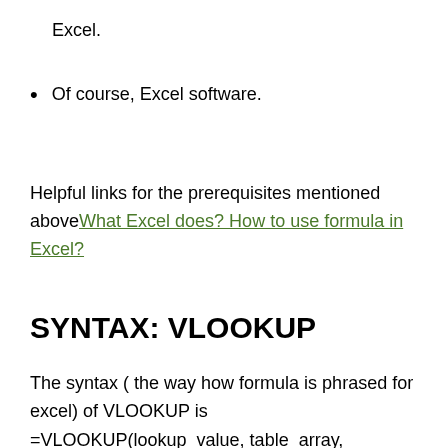Excel.
Of course, Excel software.
Helpful links for the prerequisites mentioned above What Excel does? How to use formula in Excel?
SYNTAX: VLOOKUP
The syntax ( the way how formula is phrased for excel) of VLOOKUP is
=VLOOKUP(lookup_value, table_array,